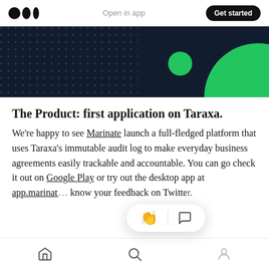Open in app | Get started
[Figure (illustration): Dark navy banner with green dot pattern on left, small green circle in center, large green semi-circle on right]
The Product: first application on Taraxa.
We’re happy to see Marinate launch a full-fledged platform that uses Taraxa’s immutable audit log to make everyday business agreements easily trackable and accountable. You can go check it out on Google Play or try out the desktop app at app.marinat... know your feedback on Twitter.
Home | Search | Profile